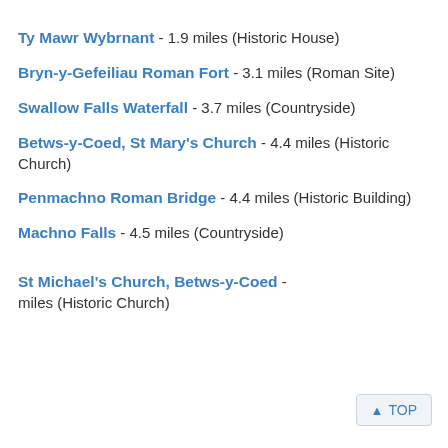Ty Mawr Wybrnant - 1.9 miles (Historic House)
Bryn-y-Gefeiliau Roman Fort - 3.1 miles (Roman Site)
Swallow Falls Waterfall - 3.7 miles (Countryside)
Betws-y-Coed, St Mary's Church - 4.4 miles (Historic Church)
Penmachno Roman Bridge - 4.4 miles (Historic Building)
Machno Falls - 4.5 miles (Countryside)
St Michael's Church, Betws-y-Coed - miles (Historic Church)